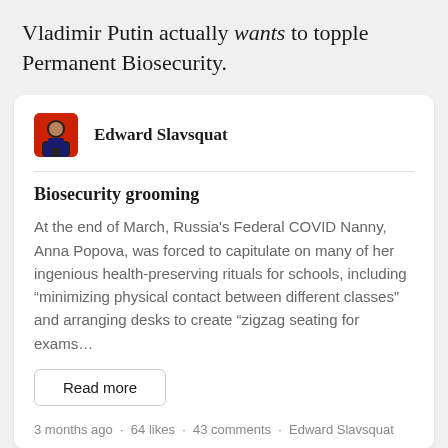Vladimir Putin actually wants to topple Permanent Biosecurity.
Edward Slavsquat
Biosecurity grooming
At the end of March, Russia's Federal COVID Nanny, Anna Popova, was forced to capitulate on many of her ingenious health-preserving rituals for schools, including “minimizing physical contact between different classes” and arranging desks to create “zigzag seating for exams…
Read more
3 months ago · 64 likes · 43 comments · Edward Slavsquat